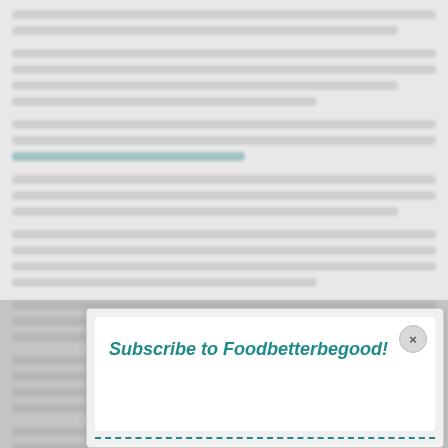[Blurred body text content — article from Foodbetterbegood website]
[Figure (screenshot): A popup/modal overlay at the bottom of the page with a white inner box, a circular close button (×), and bold italic teal text reading 'Subscribe to Foodbetterbegood!' followed by a teal dashed bottom border.]